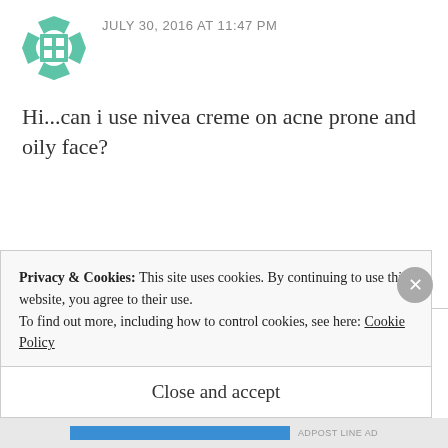JULY 30, 2016 AT 11:47 PM
Hi...can i use nivea creme on acne prone and oily face?
REPLY
[Figure (photo): Circular avatar photo of a young blonde woman (nessbow)]
nessbow
AUGUST 24, 2016 AT 8:55 PM
Privacy & Cookies: This site uses cookies. By continuing to use this website, you agree to their use.
To find out more, including how to control cookies, see here: Cookie Policy
Close and accept